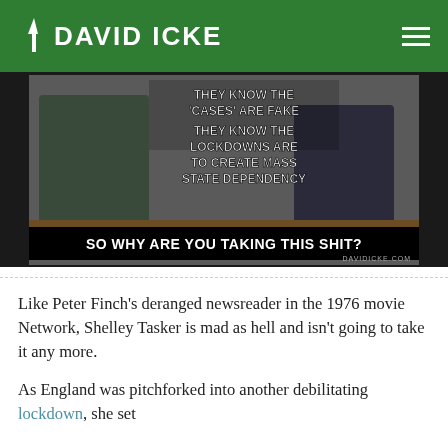DAVID ICKE
[Figure (photo): Meme image showing two men at a press conference with overlaid text: 'THEY KNOW THE CASES ARE FAKE / THEY KNOW THE LOCKDOWNS ARE TO CREATE MASS STATE DEPENDENCY / SO WHY ARE YOU TAKING THIS SHIT?' with DAVIDICKE.COM watermark]
Like Peter Finch’s deranged newsreader in the 1976 movie Network, Shelley Tasker is mad as hell and isn’t going to take it any more.
As England was pitchforked into another debilitating lockdown, she set